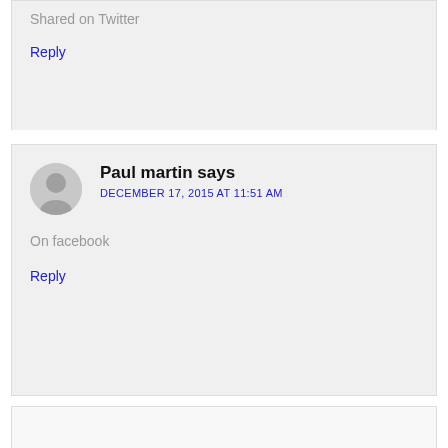Shared on Twitter
Reply
Paul martin says
DECEMBER 17, 2015 AT 11:51 AM
On facebook
Reply